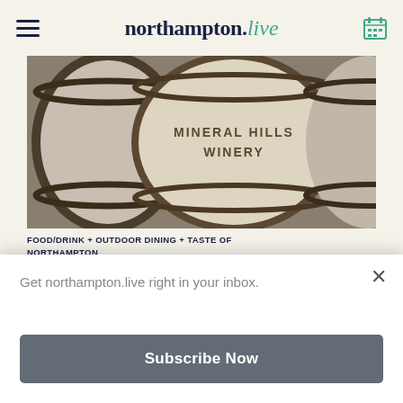northampton.live
[Figure (photo): Close-up of wine barrels with 'MINERAL HILLS WINERY' text stamped on the front barrel]
FOOD/DRINK + OUTDOOR DINING + TASTE OF NORTHAMPTON
Mineral Hills Winery
Godard's Red Hen Farm started growing apples and
Get northampton.live right in your inbox.
Subscribe Now